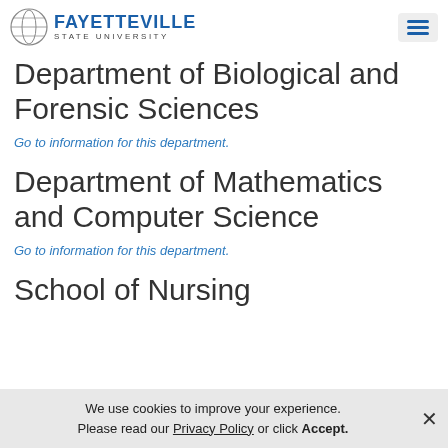Fayetteville State University
Department of Biological and Forensic Sciences
Go to information for this department.
Department of Mathematics and Computer Science
Go to information for this department.
School of Nursing
We use cookies to improve your experience. Please read our Privacy Policy or click Accept.